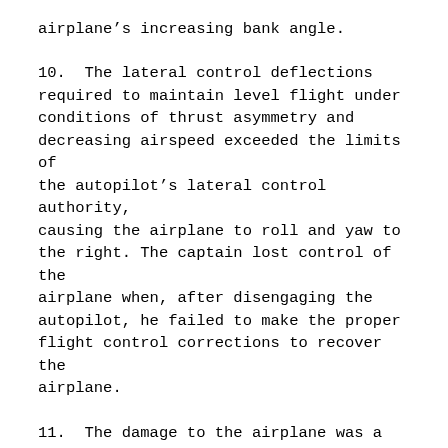airplane’s increasing bank angle.
10.  The lateral control deflections required to maintain level flight under conditions of thrust asymmetry and decreasing airspeed exceeded the limits of the autopilot’s lateral control authority, causing the airplane to roll and yaw to the right. The captain lost control of the airplane when, after disengaging the autopilot, he failed to make the proper flight control corrections to recover the airplane.
11.  The damage to the airplane was a result of the acceleration forces and high airspeeds that occurred during the upset and recovery maneuvers.